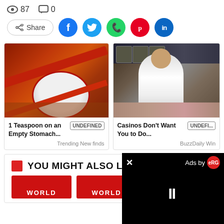👁 87  💬 0
[Figure (other): Social share buttons: Share, Facebook, Twitter, WhatsApp, Pinterest, LinkedIn]
[Figure (photo): Red measuring spoon with white powder (flour) on wooden surface - article thumbnail]
1 Teaspoon on an Empty Stomac... UNDEFINED
Trending New finds
[Figure (photo): Woman in white shirt sitting in a casino with slot machines in background - article thumbnail]
Casinos Don't Want You to Do... UNDEFI...
BuzzDaily Win
YOU MIGHT ALSO LIKE
[Figure (photo): WORLD category thumbnail card - left]
[Figure (photo): WORLD category thumbnail card - right]
[Figure (other): Video overlay player with close button (X), 'Ads by eRG' label, and pause button]